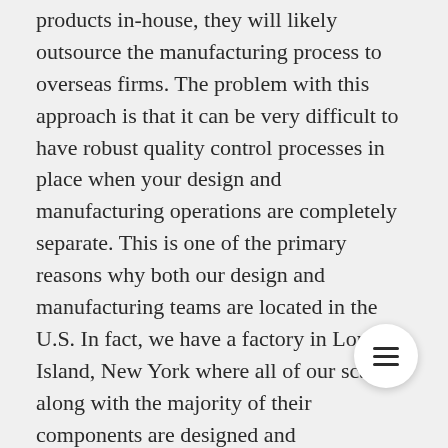products in-house, they will likely outsource the manufacturing process to overseas firms. The problem with this approach is that it can be very difficult to have robust quality control processes in place when your design and manufacturing operations are completely separate. This is one of the primary reasons why both our design and manufacturing teams are located in the U.S. In fact, we have a factory in Long Island, New York where all of our scales, along with the majority of their components are designed and manufactured. This factory sits directly beside our design offices so that all of our team members can work together to produce the most advanced scale possible.
By manufacturing all of our scales in-house we're able to offer lower priced scales that still feature the latest in cutting-edge technology. Our factory direct approach allows our design and engineering teams to keep a tight eye on every facet of the manufacturing process